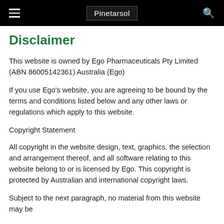Pinetarsol
Disclaimer
This website is owned by Ego Pharmaceuticals Pty Limited (ABN 86005142361) Australia (Ego)
If you use Ego's website, you are agreeing to be bound by the terms and conditions listed below and any other laws or regulations which apply to this website.
Copyright Statement
All copyright in the website design, text, graphics, the selection and arrangement thereof, and all software relating to this website belong to or is licensed by Ego. This copyright is protected by Australian and international copyright laws.
Subject to the next paragraph, no material from this website may be